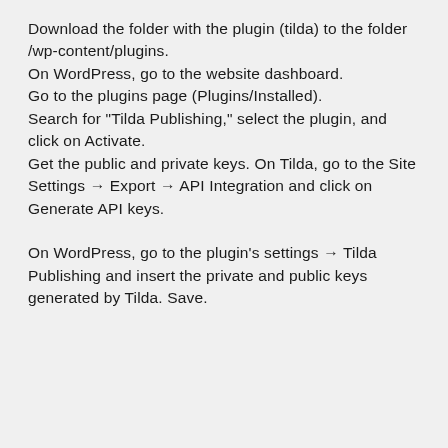Download the folder with the plugin (tilda) to the folder /wp-content/plugins.
On WordPress, go to the website dashboard.
Go to the plugins page (Plugins/Installed).
Search for "Tilda Publishing," select the plugin, and click on Activate.
Get the public and private keys. On Tilda, go to the Site Settings → Export → API Integration and click on Generate API keys.
On WordPress, go to the plugin's settings → Tilda Publishing and insert the private and public keys generated by Tilda. Save.